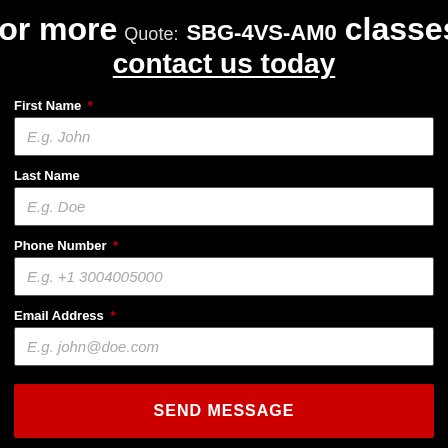For more Quote: SBG-4VS-AM0 classes, contact us today
First Name *
E.g. John
Last Name
E.g. Doe
Phone Number *
E.g. +1 3004005000
Email Address *
E.g. john@doe.com
SEND MESSAGE